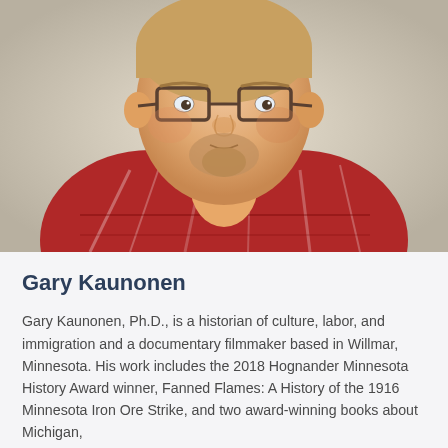[Figure (photo): Headshot photo of Gary Kaunonen, a man with glasses, light beard, wearing a red plaid flannel shirt, photographed from the shoulders up against a light background.]
Gary Kaunonen
Gary Kaunonen, Ph.D., is a historian of culture, labor, and immigration and a documentary filmmaker based in Willmar, Minnesota. His work includes the 2018 Hognander Minnesota History Award winner, Fanned Flames: A History of the 1916 Minnesota Iron Ore Strike, and two award-winning books about Michigan, Challenger: A portrait of a Finnish Immigrant...